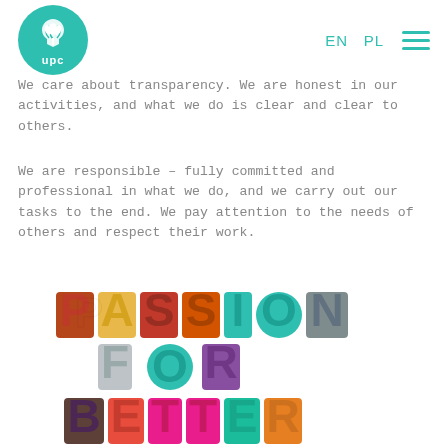UPC logo, EN, PL navigation
We care about transparency. We are honest in our activities, and what we do is clear and clear to others.
We are responsible – fully committed and professional in what we do, and we carry out our tasks to the end. We pay attention to the needs of others and respect their work.
[Figure (illustration): Colorful typographic illustration reading PASSION FOR BETTER with letters filled with photo collages of people]